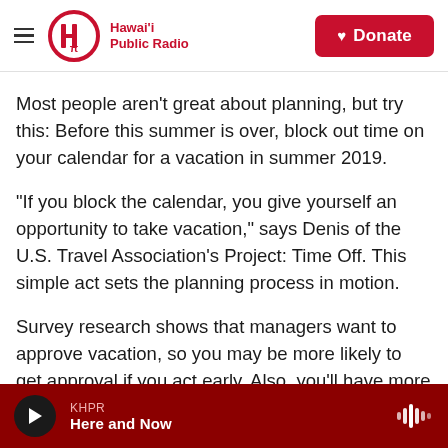Hawai'i Public Radio | Donate
Most people aren't great about planning, but try this: Before this summer is over, block out time on your calendar for a vacation in summer 2019.
"If you block the calendar, you give yourself an opportunity to take vacation," says Denis of the U.S. Travel Association's Project: Time Off. This simple act sets the planning process in motion.
Survey research shows that managers want to approve vacation, so you may be more likely to get approval if you act early. Also, you'll have more time
KHPR Here and Now